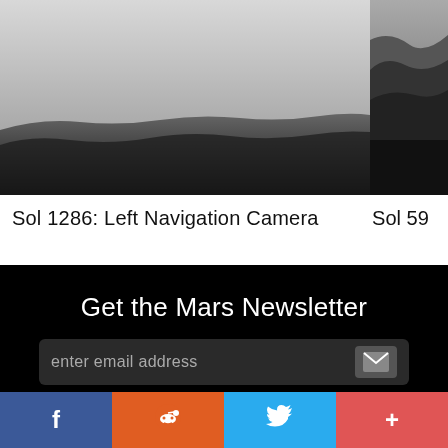[Figure (photo): Black and white photo of Mars terrain taken by Left Navigation Camera, showing rocky horizon against light sky]
Sol 1286: Left Navigation Camera
[Figure (photo): Black and white photo of Mars rocky terrain, partially cropped]
Sol 59
Get the Mars Newsletter
enter email address
f
reddit icon
Twitter bird icon
+